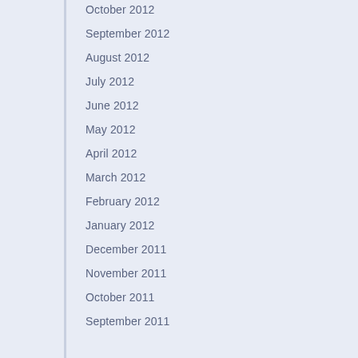October 2012
September 2012
August 2012
July 2012
June 2012
May 2012
April 2012
March 2012
February 2012
January 2012
December 2011
November 2011
October 2011
September 2011